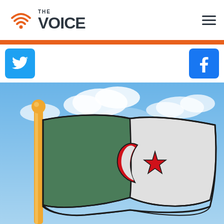THE VOICE
[Figure (logo): The Voice news logo with wifi/signal icon and hamburger menu icon]
[Figure (illustration): Illustration of the Algerian flag waving on a golden flagpole against a cloudy blue sky background. The flag shows the green and white halves with a red crescent moon and star symbol in the center.]